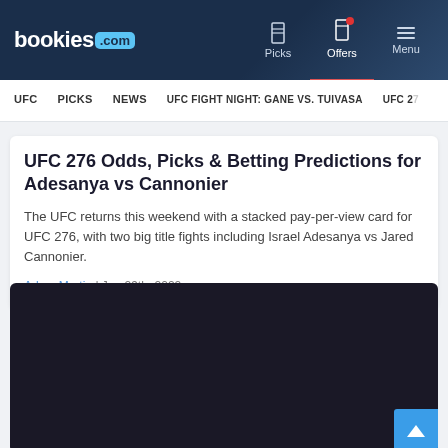bookies.com | Picks | Offers | Menu
UFC | PICKS | NEWS | UFC FIGHT NIGHT: GANE VS. TUIVASA | UFC 27
UFC 276 Odds, Picks & Betting Predictions for Adesanya vs Cannonier
The UFC returns this weekend with a stacked pay-per-view card for UFC 276, with two big title fights including Israel Adesanya vs Jared Cannonier.
Adam Martin | Jun 29th, 2022
[Figure (photo): Dark/black image placeholder area at the bottom of the page]